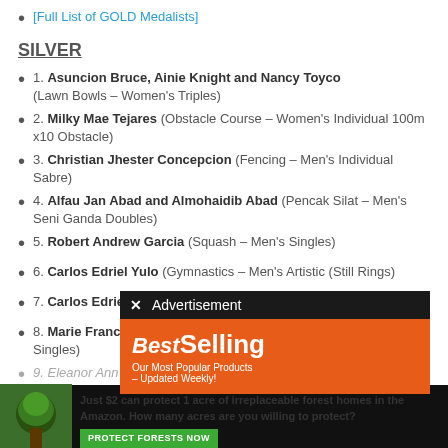[Full List of GOLD Medalists]
SILVER
1. Asuncion Bruce, Ainie Knight and Nancy Toyco (Lawn Bowls - Women's Triples)
2. Milky Mae Tejares (Obstacle Course - Women's Individual 100m x10 Obstacle)
3. Christian Jhester Concepcion (Fencing - Men's Individual Sabre)
4. Alfau Jan Abad and Almohaidib Abad (Pencak Silat - Men's Seni Ganda Doubles)
5. Robert Andrew Garcia (Squash - Men's Singles)
6. Carlos Edriel Yulo (Gymnastics - Men's Artistic (Still Rings))
7. Carlos Edriel Yulo (Gymnastics...)
8. Marie Francine Padios... Singles)
[Figure (screenshot): Advertisement overlay with 'Best Selling - Our Most Popular Products - Updated Weekly!' on orange background, and a forest protection charity ad at the bottom.]